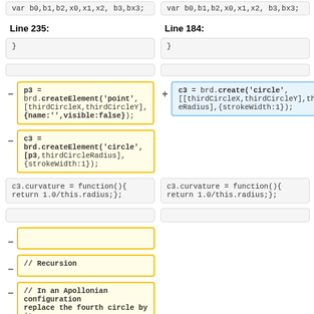var b0,b1,b2,x0,x1,x2, b3,bx3;
var b0,b1,b2,x0,x1,x2, b3,bx3;
Line 235:
Line 184:
}
}
p3 = brd.createElement('point', [thirdCircleX,thirdCircleY], {name:'',visible:false});
c3 = brd.create('circle', [[thirdCircleX,thirdCircleY],thirdCircleRadius],{strokeWidth:1});
c3 = brd.createElement('circle', [p3,thirdCircleRadius], {strokeWidth:1});
c3.curvature = function(){ return 1.0/this.radius;};
c3.curvature = function(){ return 1.0/this.radius;};
// Recursion
// In an Apollonian configuration replace the fourth circle by its